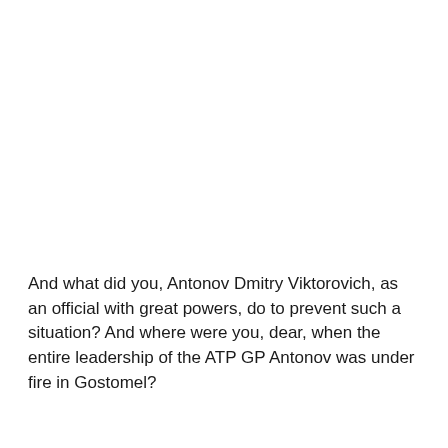And what did you, Antonov Dmitry Viktorovich, as an official with great powers, do to prevent such a situation? And where were you, dear, when the entire leadership of the ATP GP Antonov was under fire in Gostomel?